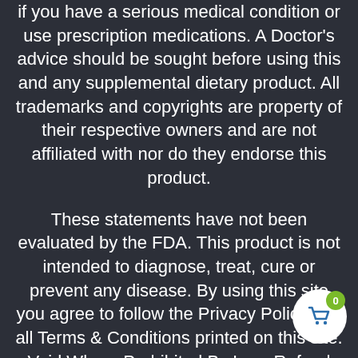if you have a serious medical condition or use prescription medications. A Doctor's advice should be sought before using this and any supplemental dietary product. All trademarks and copyrights are property of their respective owners and are not affiliated with nor do they endorse this product.
These statements have not been evaluated by the FDA. This product is not intended to diagnose, treat, cure or prevent any disease. By using this site you agree to follow the Privacy Policy and all Terms & Conditions printed on this site. Void Where Prohibited By Law. Refund Policy. WellspringCBD.com does not sell or distribute any products that are in violation of the United States Controlled Substances Act (US.CSA).